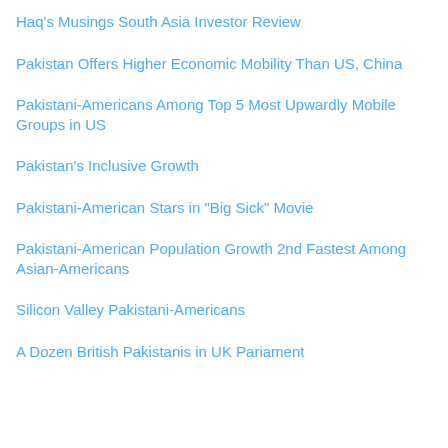Haq's Musings
South Asia Investor Review
Pakistan Offers Higher Economic Mobility Than US, China
Pakistani-Americans Among Top 5 Most Upwardly Mobile Groups in US
Pakistan's Inclusive Growth
Pakistani-American Stars in "Big Sick" Movie
Pakistani-American Population Growth 2nd Fastest Among Asian-Americans
Silicon Valley Pakistani-Americans
A Dozen British Pakistanis in UK Pariament